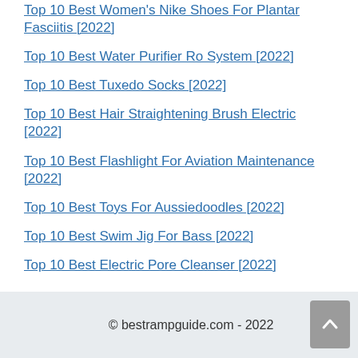Top 10 Best Women's Nike Shoes For Plantar Fasciitis [2022]
Top 10 Best Water Purifier Ro System [2022]
Top 10 Best Tuxedo Socks [2022]
Top 10 Best Hair Straightening Brush Electric [2022]
Top 10 Best Flashlight For Aviation Maintenance [2022]
Top 10 Best Toys For Aussiedoodles [2022]
Top 10 Best Swim Jig For Bass [2022]
Top 10 Best Electric Pore Cleanser [2022]
© bestrampguide.com - 2022